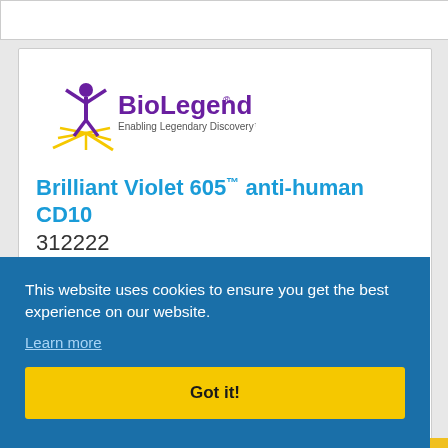[Figure (logo): BioLegend logo with figure raising arms, sun rays, text 'BioLegend' with registered trademark symbol, and tagline 'Enabling Legendary Discovery']
Brilliant Violet 605™ anti-human CD10
312222
This website uses cookies to ensure you get the best experience on our website.
Learn more
Got it!